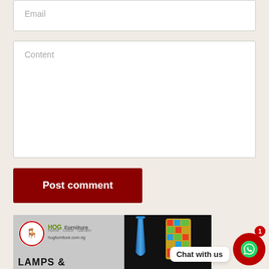Email
Content
Post comment
[Figure (photo): HOG Furniture advertisement banner showing lamps, with HOG Furniture logo, hogfurniture.com.ng URL, and text 'LAMPS &'. A blue lamp and a colorful mosaic lamp are partially visible on a black background.]
Chat with us